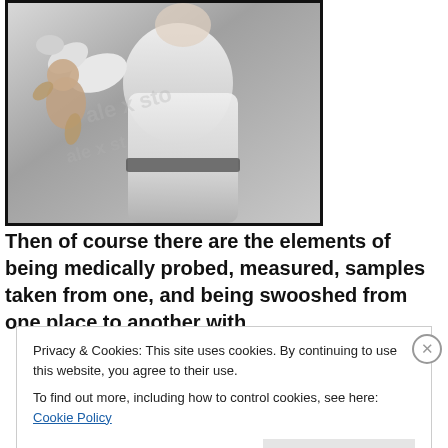[Figure (photo): Black and white photograph of a person in white clothing (possibly a medical professional or martial arts practitioner) holding a baby or small child]
Then of course there are the elements of being medically probed, measured, samples taken from one, and being swooshed from one place to another with
Privacy & Cookies: This site uses cookies. By continuing to use this website, you agree to their use.
To find out more, including how to control cookies, see here: Cookie Policy
Close and accept